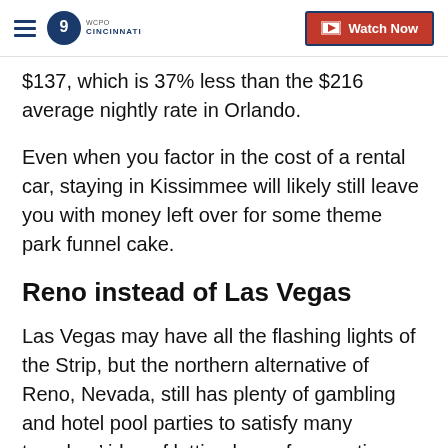WCPO 9 CINCINNATI | Watch Now
$137, which is 37% less than the $216 average nightly rate in Orlando.
Even when you factor in the cost of a rental car, staying in Kissimmee will likely still leave you with money left over for some theme park funnel cake.
Reno instead of Las Vegas
Las Vegas may have all the flashing lights of the Strip, but the northern alternative of Reno, Nevada, still has plenty of gambling and hotel pool parties to satisfy many travelers’ idea of letting loose for vacation. Reno is also close to Lake Tahoe, which offers incredible views, hiking and water activities during the summer.